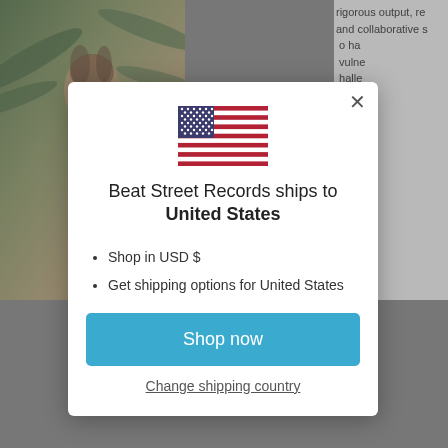[Figure (photo): Partially visible artistic photo with tropical/nature background (green palms, bronze tones)]
rigorous output, re
and collaborative 
o ha
vulne
halle
roots
ven r
aving
e rap
mold
ggae
eatin
song
nosp
um c
roug
erythi
Day B
cipate
established norms
answer to the con
[Figure (illustration): US Flag illustration]
Beat Street Records ships to
United States
Shop in USD $
Get shipping options for United States
Shop now
Change shipping country